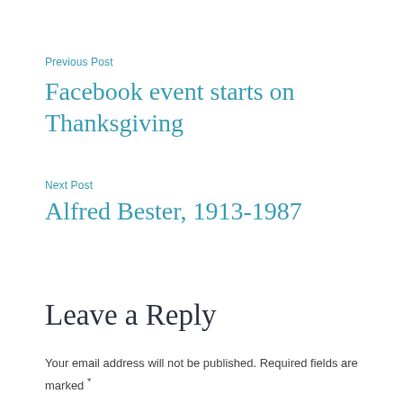Previous Post
Facebook event starts on Thanksgiving
Next Post
Alfred Bester, 1913-1987
Leave a Reply
Your email address will not be published. Required fields are marked *